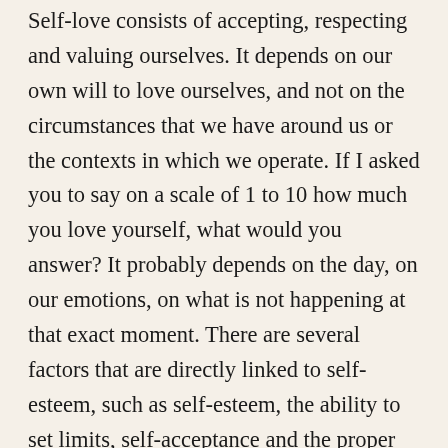Self-love consists of accepting, respecting and valuing ourselves. It depends on our own will to love ourselves, and not on the circumstances that we have around us or the contexts in which we operate. If I asked you to say on a scale of 1 to 10 how much you love yourself, what would you answer? It probably depends on the day, on our emotions, on what is not happening at that exact moment. There are several factors that are directly linked to self-esteem, such as self-esteem, the ability to set limits, self-acceptance and the proper management of expectations throughout life. Self-esteem goes hand in hand with achievements, so self-esteem increases progressively over the years as goals are achieved. Self-love is a very important ingredient to enjoy psychological well-being and we can define it as the